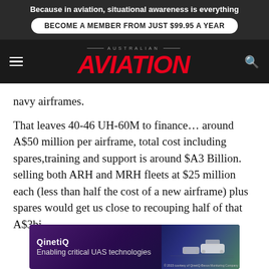Because in aviation, situational awareness is everything
BECOME A MEMBER FROM JUST $99.95 A YEAR
[Figure (logo): Australian Aviation magazine logo with red italic AVIATION text on dark background]
navy airframes.
That leaves 40-46 UH-60M to finance... around A$50 million per airframe, total cost including spares,training and support is around $A3 Billion. selling both ARH and MRH fleets at $25 million each (less than half the cost of a new airframe) plus spares would get us close to recouping half of that A$3bi
[Figure (infographic): QinetiQ advertisement banner - Enabling critical UAS technologies, with purple/blue gradient background and drone imagery]